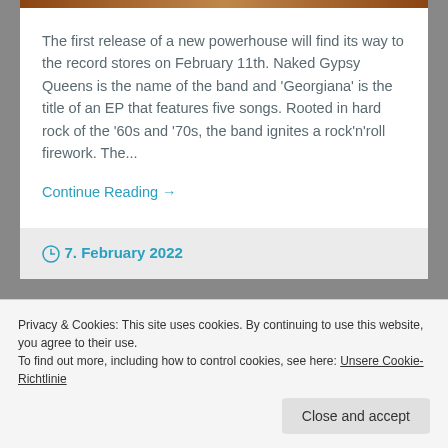[Figure (photo): Partial image strip visible at very top of card]
The first release of a new powerhouse will find its way to the record stores on February 11th. Naked Gypsy Queens is the name of the band and 'Georgiana' is the title of an EP that features five songs. Rooted in hard rock of the '60s and '70s, the band ignites a rock'n'roll firework. The...
Continue Reading →
7. February 2022
Privacy & Cookies: This site uses cookies. By continuing to use this website, you agree to their use.
To find out more, including how to control cookies, see here: Unsere Cookie-Richtlinie
Close and accept